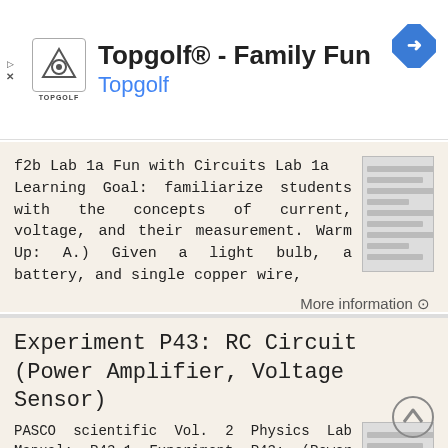[Figure (screenshot): Topgolf advertisement banner with logo, title 'Topgolf® - Family Fun', subtitle 'Topgolf', and navigation arrow icon]
f2b Lab 1a Fun with Circuits Lab 1a Learning Goal: familiarize students with the concepts of current, voltage, and their measurement. Warm Up: A.) Given a light bulb, a battery, and single copper wire,
More information →
Experiment P43: RC Circuit (Power Amplifier, Voltage Sensor)
PASCO scientific Vol. 2 Physics Lab Manual: P43-1 Experiment P43: (Power Amplifier, Voltage Sensor) Concept Time SW Interface Macintosh file Windows file circuits 30 m 700 P43 P43_RCCI.SWS EQUIPMENT NEEDED